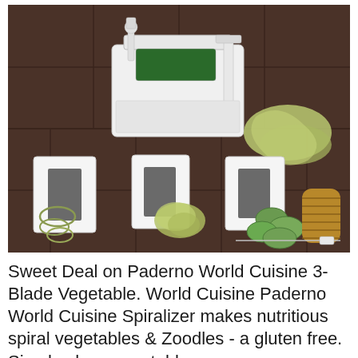[Figure (photo): A white Paderno World Cuisine 3-Blade Vegetable Spiralizer machine on a dark tile surface, surrounded by various vegetable cuts including zucchini noodles, spiral rings, shredded strands, cucumber slices, and a spiral-cut potato on a skewer. Three interchangeable blade attachments are also displayed in front.]
Sweet Deal on Paderno World Cuisine 3-Blade Vegetable. World Cuisine Paderno World Cuisine Spiralizer makes nutritious spiral vegetables & Zoodles - a gluten free. Simply place vegetable or